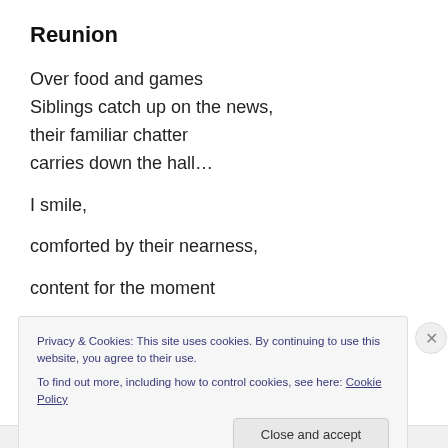Reunion
Over food and games
Siblings catch up on the news,
their familiar chatter
carries down the hall…

I smile,

comforted by their nearness,

content for the moment

to reunite with another friend:
Privacy & Cookies: This site uses cookies. By continuing to use this website, you agree to their use.
To find out more, including how to control cookies, see here: Cookie Policy
Close and accept